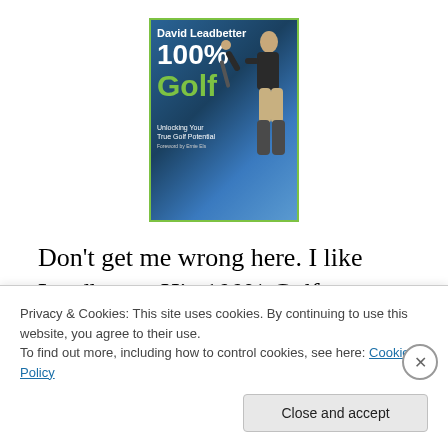[Figure (illustration): Book cover of 'David Leadbetter 100% Golf – Unlocking Your True Golf Potential, Foreword by Ernie Els'. Green-bordered cover with blue background, white bold text, green '100%' and 'Golf' title, and a golfer mid-swing on the right side.]
Don't get me wrong here. I like Leadbetter. His 100% Golf got me back on track after a long lay-off. But I'm talking clothing here, not swing mechanics.
Privacy & Cookies: This site uses cookies. By continuing to use this website, you agree to their use. To find out more, including how to control cookies, see here: Cookie Policy